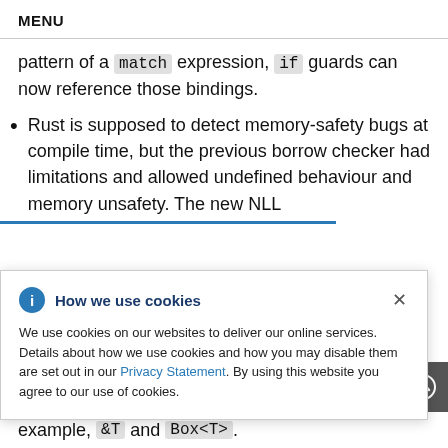MENU
pattern of a match expression, if guards can now reference those bindings.
Rust is supposed to detect memory-safety bugs at compile time, but the previous borrow checker had limitations and allowed undefined behaviour and memory unsafety. The new NLL
ems and migration rrors. nt when oed} are for
How we use cookies
We use cookies on our websites to deliver our online services. Details about how we use cookies and how you may disable them are set out in our Privacy Statement. By using this website you agree to our use of cookies.
example, &T and Box<T>.